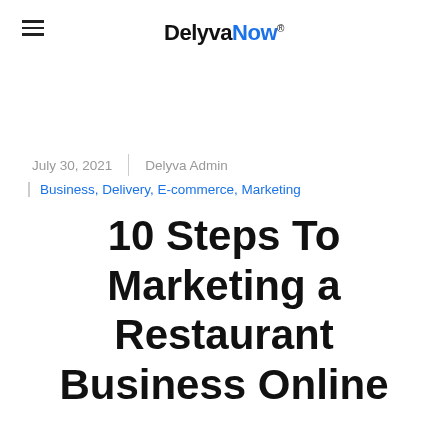DelyvaNow
July 30, 2021  |  Delyva Admin
Business, Delivery, E-commerce, Marketing
10 Steps To Marketing a Restaurant Business Online